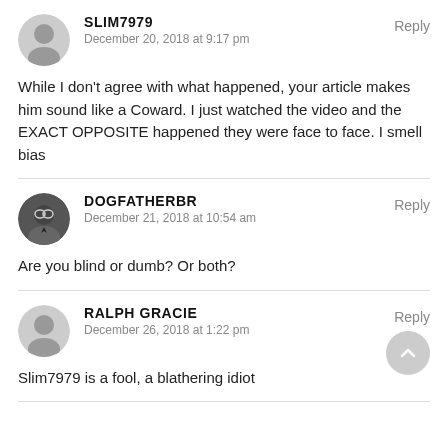SLIM7979
December 20, 2018 at 9:17 pm
Reply
While I don't agree with what happened, your article makes him sound like a Coward. I just watched the video and the EXACT OPPOSITE happened they were face to face. I smell bias
DOGFATHERBR
December 21, 2018 at 10:54 am
Reply
Are you blind or dumb? Or both?
RALPH GRACIE
December 26, 2018 at 1:22 pm
Reply
Slim7979 is a fool, a blathering idiot